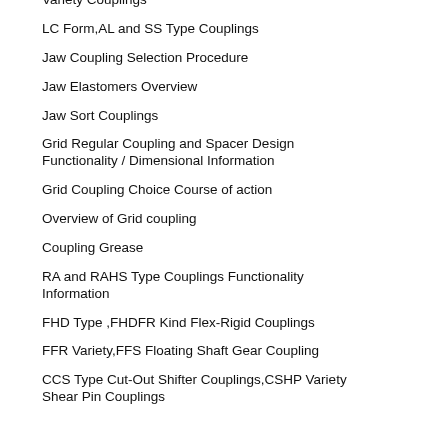Variety Couplings
LC Form,AL and SS Type Couplings
Jaw Coupling Selection Procedure
Jaw Elastomers Overview
Jaw Sort Couplings
Grid Regular Coupling and Spacer Design Functionality / Dimensional Information
Grid Coupling Choice Course of action
Overview of Grid coupling
Coupling Grease
RA and RAHS Type Couplings Functionality Information
FHD Type ,FHDFR Kind Flex-Rigid Couplings
FFR Variety,FFS Floating Shaft Gear Coupling
CCS Type Cut-Out Shifter Couplings,CSHP Variety Shear Pin Couplings